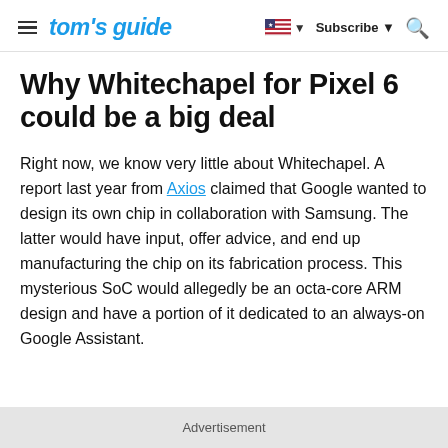tom's guide — Subscribe — Search
Why Whitechapel for Pixel 6 could be a big deal
Right now, we know very little about Whitechapel. A report last year from Axios claimed that Google wanted to design its own chip in collaboration with Samsung. The latter would have input, offer advice, and end up manufacturing the chip on its fabrication process. This mysterious SoC would allegedly be an octa-core ARM design and have a portion of it dedicated to an always-on Google Assistant.
Advertisement